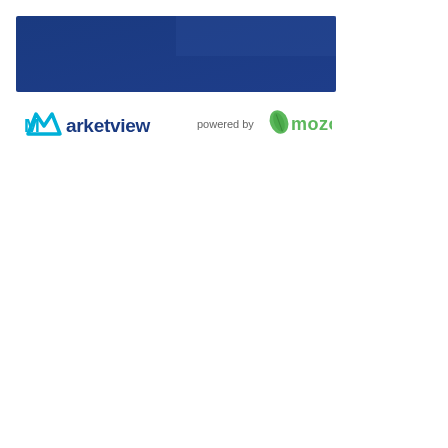[Figure (illustration): Dark navy/royal blue rectangular banner header at the top of the page]
[Figure (logo): Marketview logo (teal/cyan M icon with dark blue text 'Marketview') followed by 'powered by' text and Mozo logo (green leaf icon with green text 'mozo')]